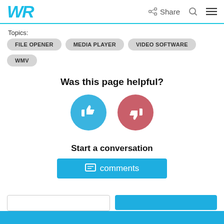WR | Share
Topics:
FILE OPENER
MEDIA PLAYER
VIDEO SOFTWARE
WMV
Was this page helpful?
[Figure (illustration): Blue thumbs-up circle button and red/pink thumbs-down circle button for page feedback]
Start a conversation
[Figure (screenshot): Blue comments button with chat icon and text 'comments']